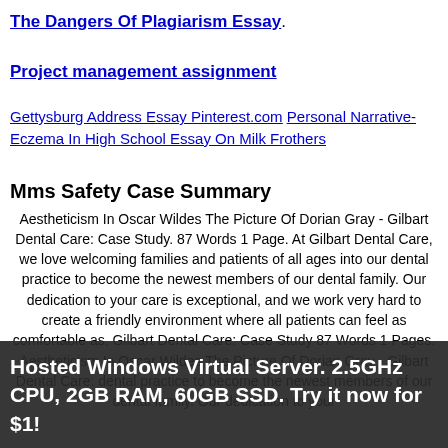The Dangers Of Plagiarism Essay
Project management assignment
Gettysburg Address Essay Pinterest.com Personal Narrative-Eczema In High School Essay On Milk Frothers
Mms Safety Case Summary
Aestheticism In Oscar Wildes The Picture Of Dorian Gray - Gilbart Dental Care: Case Study. 87 Words 1 Page. At Gilbart Dental Care, we love welcoming families and patients of all ages into our dental practice to become the newest members of our dental family. Our dedication to your care is exceptional, and we work very hard to create a friendly environment where all patients can feel as comfortable as. Gilbart Dental Care: Case Study 87 Words 1 Pages. Aestheticism In Oscar Wildes The Picture Of Dorian Gray - Gilbart Dental Care: dental practice to become the newest members of our dental family. Our dedication to your
Hosted Windows Virtual Server. 2.5GHz CPU, 2GB RAM, 60GB SSD. Try it now for $1!